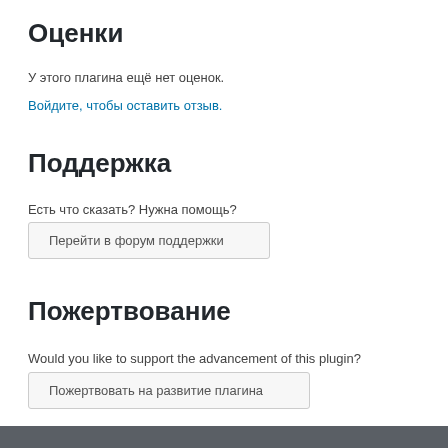Оценки
У этого плагина ещё нет оценок.
Войдите, чтобы оставить отзыв.
Поддержка
Есть что сказать? Нужна помощь?
Перейти в форум поддержки
Пожертвование
Would you like to support the advancement of this plugin?
Пожертвовать на развитие плагина